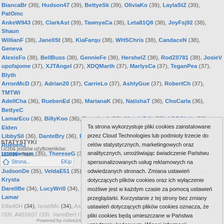BiancaBr (39), Hudson47 (39), BettyeSk (39), OliviaKo (39), LaylaStZ (39), PatOmc... AnkeW943 (39), ClarkAst (39), TawnyaCa (38), Leta81Q8 (38), JoyFsj92 (38), Shaun... WillianF (38), JanellSt (38), KiaFarqu (38), WHSChris (38), CandaceN (38), Geneva... AlexisFo (38), BellBuss (38), GennieFe (38), HershelZ (38), RodZ0781 (38), JosieV... upofajome (37), XJTAngel (37), XDQMarth (37), MarlysCa (37), TeganPea (37), Blyth... ArronMcD (37), Adrian20 (37), CarrieLo (37), AshlyGue (37), RobertCh (37), TMTWi... AdellCha (36), RuebenEd (36), MarianaK (36), NatishaT (36), ChoCarla (36), BettyeC... LamarEcu (36), BillyKoo (36), DouglasA (36), MagdaZdk (36), LDDChris (36), Elden... LibbySil (36), DanteBry (36), FallonLe (36), Mouhamad (36), ypumopi (35), RuebenJ... upumemam (35), ThereseG (35), JulissaW (35), BryantSh (35), BoydSeel (35), Reub... JudsonDe (35), VeldaE51 (35), AdrianaF (35), StormyAn (35), AntonBon (34), Krysta... DarellBe (34), LucyWri0 (34), Clark577 (34), GarryWam (34), KSZNam61 (34), Lamar... Ellis40H (34), IsraelMc (34), AshelyPd (34), JulieHog (34), BryceHal (34), ArielleG (3... (33), Ali01K07 (33), VannBert (33), SeanWyld (33), JoshuaBr (33), WillyLea (33), Do... ClydeMcC ... WilfredH (32), Chara... CharliSa (3... KEtsuk (32), AileenM... DanialCo (... ..32), MikelEbn (32)
STATYSTYKI
Liczba postów użytkowników: 121016 • Najn...
[Figure (screenshot): Home bar with house icon and EKIP link]
Ta strona wykorzystuje pliki cookies zainstalowane przez Cloud Technologies lub podmioty trzecie do celów statystycznych, marketingowych oraz analitycznych, umożliwiając świadczenie Państwu spersonalizowanych usług reklamowych na odwiedzanych stronach. Zmiana ustawień dotyczących plików cookies oraz ich wyłączenie możliwe jest w każdym czasie za pomocą ustawień przeglądarki. Korzystanie z tej strony bez zmiany ustawień dotyczących plików cookies oznacza, że pliki cookies będą umieszczane w Państwa urządzeniu końcowym. Więcej informacji dotyczących wykorzystania plików cookies znajdziecie Państwo w naszej Polityce Prywatności.
Powered by Active24, phpBB © phpBB Group, Tłumaczenia phpBB3.PL